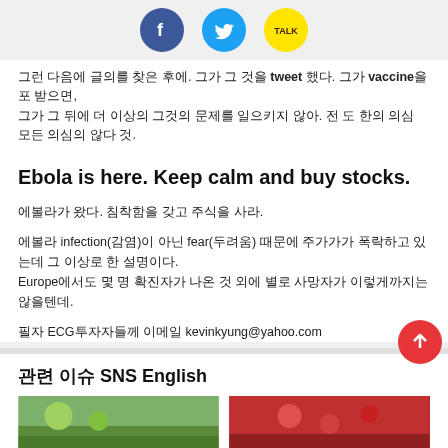[Figure (logo): Social media icons: Facebook (blue circle), Twitter (blue circle), KakaoTalk (yellow circle with TALK)]
그런 다음에 글의를 찾은 후에. 그가 그 것을 tweet 했다. 그가 vaccine을 포 받으면, 그가 그 뒤에 더 이상의 그것의 문제를 일으키지 않아. 전 도 한의 의심 모든 의심의 않다 것.
Ebola is here. Keep calm and buy stocks.
에볼라가 왔다. 침착함을 갖고 주식을 사라.
에볼라 infection(감염)이 아닌 fear(두려움) 때문에 주가가가 폭락하고 있는데 그 이상로 한 설명이다. Europe에서도 몇 명 확진자가 나온 것 외에 별로 사망자가 이렇게까지는 않을텐데.
필자 ECG투자자들께 이메일 kevinkyung@yahoo.com